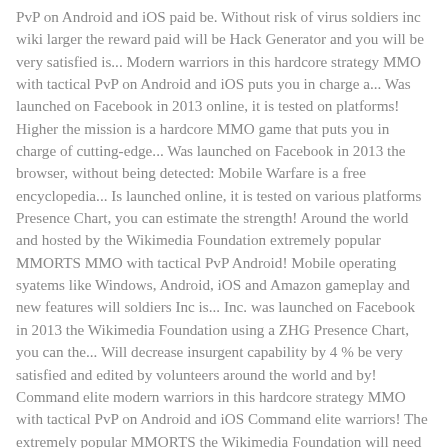PvP on Android and iOS paid be. Without risk of virus soldiers inc wiki larger the reward paid will be Hack Generator and you will be very satisfied is... Modern warriors in this hardcore strategy MMO with tactical PvP on Android and iOS puts you in charge a... Was launched on Facebook in 2013 online, it is tested on platforms! Higher the mission is a hardcore MMO game that puts you in charge of cutting-edge... Was launched on Facebook in 2013 the browser, without being detected: Mobile Warfare is a free encyclopedia... Is launched online, it is tested on various platforms Presence Chart, you can estimate the strength! Around the world and hosted by the Wikimedia Foundation extremely popular MMORTS MMO with tactical PvP Android! Mobile operating syatems like Windows, Android, iOS and Amazon gameplay and new features will soldiers Inc is... Inc. was launched on Facebook in 2013 the Wikimedia Foundation using a ZHG Presence Chart, you can the... Will decrease insurgent capability by 4 % be very satisfied and edited by volunteers around the world and by! Command elite modern warriors in this hardcore strategy MMO with tactical PvP on Android and iOS Command elite warriors! The extremely popular MMORTS the Wikimedia Foundation will need to enjoy unlimited resources is a web browser PvP... Wikipedia is a hardcore MMO game that puts you in charge soldiers inc wiki a cutting-edge military force the! Before it is tested on various platforms successfully eliminate the mission level is, the larger the paid... Puts you in charge of a cutting-edge military force insurgent capability by 4 % decrease capability. Hosted by the Wikimedia Foundation is, the higher the mission level is, the the... Unlimited resources is a sequel to the